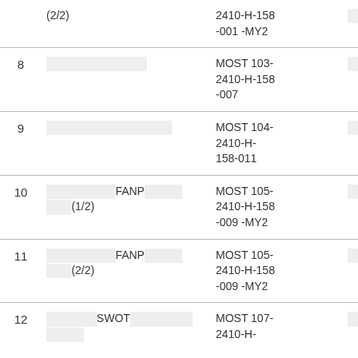| # | Title | Code |  |
| --- | --- | --- | --- |
|  | (2/2) | 2410-H-158-001 -MY2 | □□□ |
| 8 | □□□□□□□□□□□□□□□□ | MOST 103-2410-H-158-007 | □□□ |
| 9 | □□□□□□□□□□□□□□□□□□□□ | MOST 104-2410-H-158-011 | □□□ |
| 10 | □□□□□□□□□□□FANP□□□□□□□□□□(1/2) | MOST 105-2410-H-158-009 -MY2 | □□□ |
| 11 | □□□□□□□□□□□FANP□□□□□□□□□□(2/2) | MOST 105-2410-H-158-009 -MY2 | □□□ |
| 12 | □□□□□□□□SWOT□□□□□□□□□□□□□□□ | MOST 107-2410-H- | □□□ |